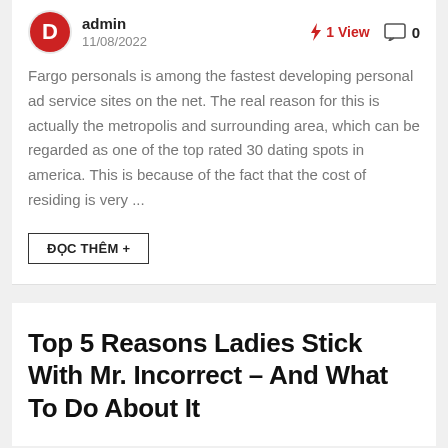admin | 11/08/2022 | 1 View | 0 comments
Fargo personals is among the fastest developing personal ad service sites on the net. The real reason for this is actually the metropolis and surrounding area, which can be regarded as one of the top rated 30 dating spots in america. This is because of the fact that the cost of residing is very ...
ĐỌC THÊM +
Top 5 Reasons Ladies Stick With Mr. Incorrect – And What To Do About It